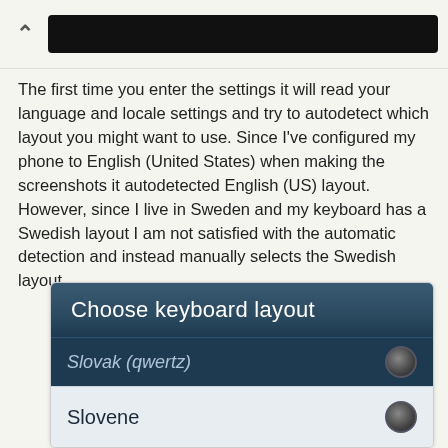[Figure (screenshot): Top navigation bar with back arrow and black redacted title bar]
The first time you enter the settings it will read your language and locale settings and try to autodetect which layout you might want to use. Since I've configured my phone to English (United States) when making the screenshots it autodetected English (US) layout. However, since I live in Sweden and my keyboard has a Swedish layout I am not satisfied with the automatic detection and instead manually selects the Swedish layout.
[Figure (screenshot): Android dialog showing 'Choose keyboard layout' with list items: Slovak (qwertz) with radio button, Slovene with radio button, Spanish (Dvorak) with radio button]